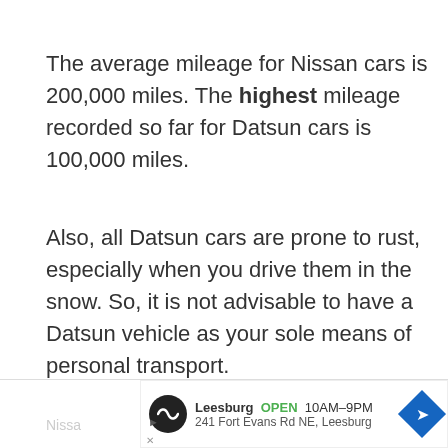The average mileage for Nissan cars is 200,000 miles. The highest mileage recorded so far for Datsun cars is 100,000 miles.
Also, all Datsun cars are prone to rust, especially when you drive them in the snow. So, it is not advisable to have a Datsun vehicle as your sole means of personal transport.
What About Safety?